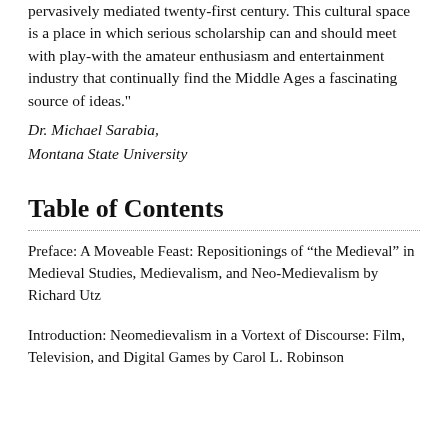pervasively mediated twenty-first century. This cultural space is a place in which serious scholarship can and should meet with play-with the amateur enthusiasm and entertainment industry that continually find the Middle Ages a fascinating source of ideas."
Dr. Michael Sarabia,
Montana State University
Table of Contents
Preface: A Moveable Feast: Repositionings of “the Medieval” in Medieval Studies, Medievalism, and Neo-Medievalism by Richard Utz
Introduction: Neomedievalism in a Vortext of Discourse: Film, Television, and Digital Games by Carol L. Robinson